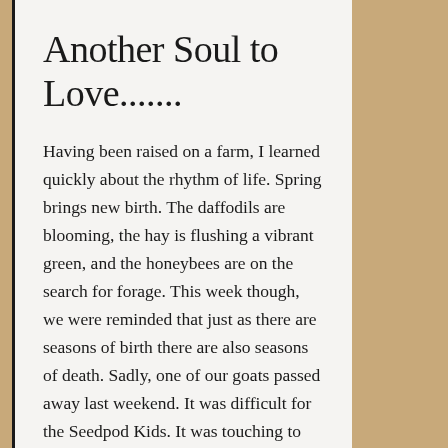Another Soul to Love.......
Having been raised on a farm, I learned quickly about the rhythm of life. Spring brings new birth. The daffodils are blooming, the hay is flushing a vibrant green, and the honeybees are on the search for forage. This week though, we were reminded that just as there are seasons of birth there are also seasons of death. Sadly, one of our goats passed away last weekend. It was difficult for the Seedpod Kids. It was touching to have them remember "Goaty" in their prayers and